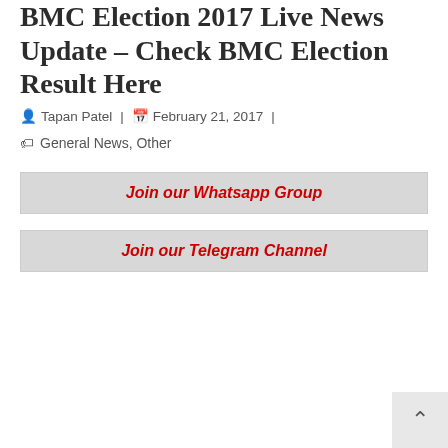BMC Election 2017 Live News Update – Check BMC Election Result Here
Tapan Patel | February 21, 2017 |
General News, Other
Join our Whatsapp Group
Join our Telegram Channel